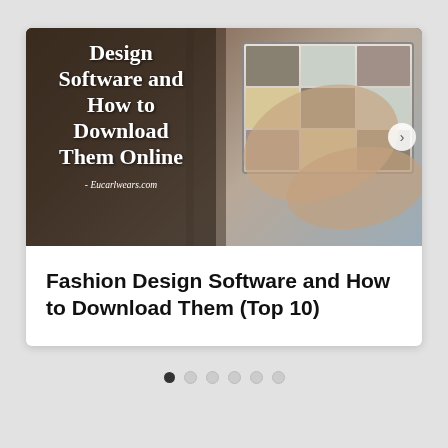[Figure (photo): A card-style carousel slide showing a tablet device being used, with an overlaid text panel on the left reading 'Design Software and How to Download Them Online - Eucarlwears.com'. A right-arrow navigation button is visible.]
Fashion Design Software and How to Download Them (Top 10)